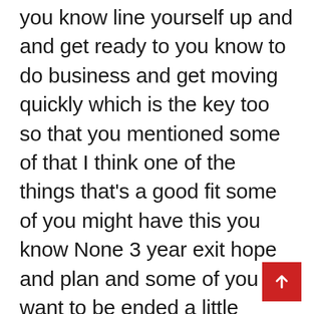you know line yourself up and and get ready to you know to do business and get moving quickly which is the key too so that you mentioned some of that I think one of the things that's a good fit some of you might have this you know None 3 year exit hope and plan and some of you want to be ended a little longer and that's some of the stuff you're talking about with being aligned right? because if you got someone breathing down your neck to hurry up and get an exit out in 2 years you're like hey planning on